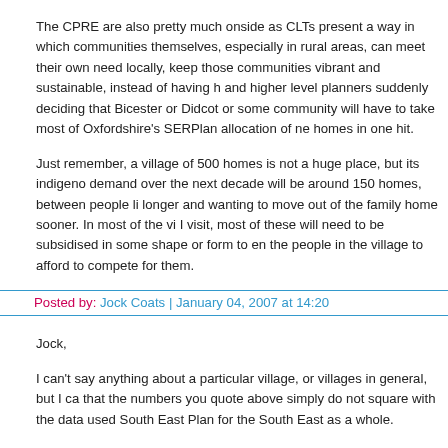and I for one am pleased that Gove and Cameron are taking it seriously.
The CPRE are also pretty much onside as CLTs present a way in which communities themselves, especially in rural areas, can meet their own needs locally, keep those communities vibrant and sustainable, instead of having higher and higher level planners suddenly deciding that Bicester or Didcot or some community will have to take most of Oxfordshire's SERPlan allocation of new homes in one hit.
Just remember, a village of 500 homes is not a huge place, but its indigenous demand over the next decade will be around 150 homes, between people living longer and wanting to move out of the family home sooner. In most of the villages I visit, most of these will need to be subsidised in some shape or form to enable the people in the village to afford to compete for them.
Posted by: Jock Coats | January 04, 2007 at 14:20
Jock,
I can't say anything about a particular village, or villages in general, but I can say that the numbers you quote above simply do not square with the data used for the South East Plan for the South East as a whole.
You're projecting that indigenous growth alone would require an increase from 500 homes to 650 over the next decade, which is about 3% a year. But even...